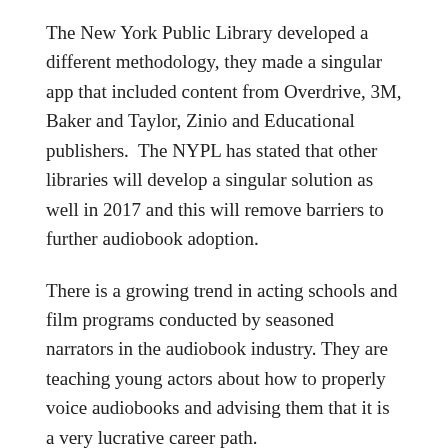The New York Public Library developed a different methodology, they made a singular app that included content from Overdrive, 3M, Baker and Taylor, Zinio and Educational publishers.  The NYPL has stated that other libraries will develop a singular solution as well in 2017 and this will remove barriers to further audiobook adoption.
There is a growing trend in acting schools and film programs conducted by seasoned narrators in the audiobook industry. They are teaching young actors about how to properly voice audiobooks and advising them that it is a very lucrative career path.
Good e-Reader has conducted a month long poll where we asked users about their audiobook buying habits. 753 people voted and it looks like Audible is the most popular service, which garnered 16.6% of the vote, 19.55% borrow...